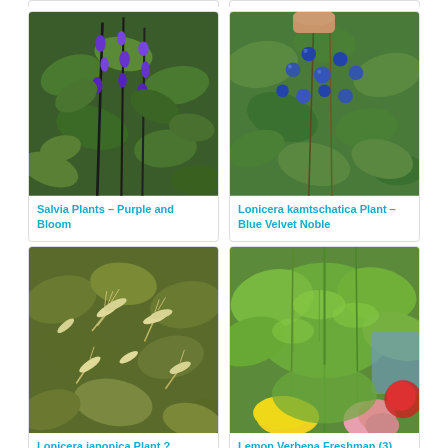[Figure (photo): Salvia plant with purple blooms and dark stems against green leaves]
Salvia Plants – Purple and Bloom
[Figure (photo): Lonicera kamtschatica plant with blue berries and green leaves, hand visible]
Lonicera kamtschatica Plant – Blue Velvet Noble
[Figure (photo): Lonicera japonica Halliana plant with cream-white flowers and green leaves]
Lonicera japonica Plant ? Halliana 2 Litre Pot x 1
[Figure (photo): Lemon Verbena Freshman botanical plant with bright green leaves, lemons and flowers in background]
Lemon Verbena Freshman (3) Botanical
[Figure (photo): Partial plant image at bottom left, cropped]
[Figure (photo): Partial plant image at bottom right, cropped]